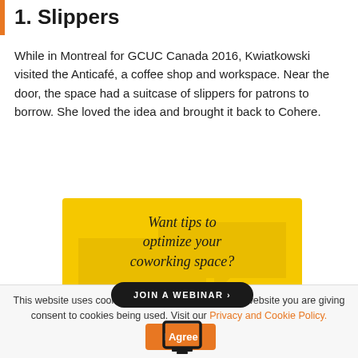1. Slippers
While in Montreal for GCUC Canada 2016, Kwiatkowski visited the Anticafé, a coffee shop and workspace. Near the door, the space had a suitcase of slippers for patrons to borrow. She loved the idea and brought it back to Cohere.
[Figure (infographic): Yellow advertisement banner with text 'Want tips to optimize your coworking space?' and a black rounded button 'JOIN A WEBINAR >' with decorative arrow shapes in background and an icon at the bottom.]
This website uses cookies. By continuing to use this website you are giving consent to cookies being used. Visit our Privacy and Cookie Policy.   I Agree